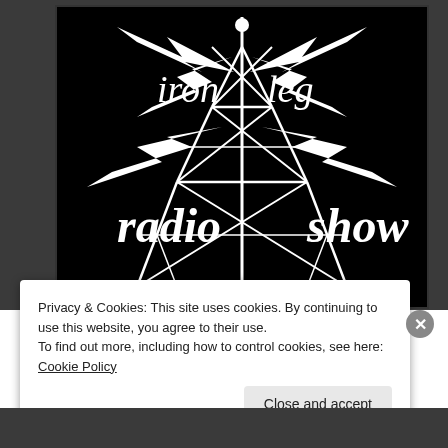[Figure (logo): Iron Leg Radio Show logo: white illustration of a radio transmission tower with lightning bolts radiating outward on a black background. Text reads 'iron leg' at top and 'radio show' at bottom in white serif/display font.]
Privacy & Cookies: This site uses cookies. By continuing to use this website, you agree to their use.
To find out more, including how to control cookies, see here: Cookie Policy
Close and accept